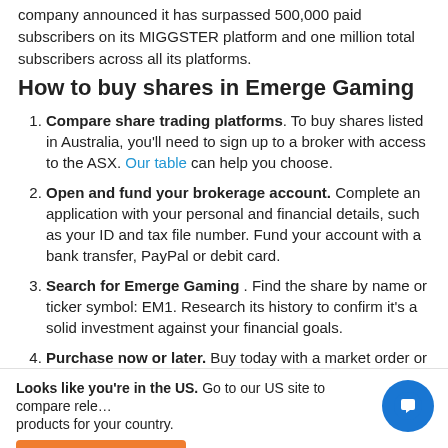company announced it has surpassed 500,000 paid subscribers on its MIGGSTER platform and one million total subscribers across all its platforms.
How to buy shares in Emerge Gaming
Compare share trading platforms. To buy shares listed in Australia, you'll need to sign up to a broker with access to the ASX. Our table can help you choose.
Open and fund your brokerage account. Complete an application with your personal and financial details, such as your ID and tax file number. Fund your account with a bank transfer, PayPal or debit card.
Search for Emerge Gaming . Find the share by name or ticker symbol: EM1. Research its history to confirm it's a solid investment against your financial goals.
Purchase now or later. Buy today with a market order or
Looks like you're in the US. Go to our US site to compare relevant products for your country.
Go to Finder US | No, stay on this page